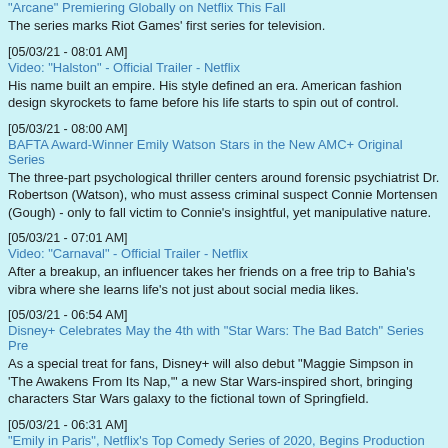"Arcane" Premiering Globally on Netflix This Fall
The series marks Riot Games' first series for television.
[05/03/21 - 08:01 AM]
Video: "Halston" - Official Trailer - Netflix
His name built an empire. His style defined an era. American fashion design skyrockets to fame before his life starts to spin out of control.
[05/03/21 - 08:00 AM]
BAFTA Award-Winner Emily Watson Stars in the New AMC+ Original Series
The three-part psychological thriller centers around forensic psychiatrist Dr. Robertson (Watson), who must assess criminal suspect Connie Mortensen (Gough) - only to fall victim to Connie's insightful, yet manipulative nature.
[05/03/21 - 07:01 AM]
Video: "Carnaval" - Official Trailer - Netflix
After a breakup, an influencer takes her friends on a free trip to Bahia's vibra where she learns life's not just about social media likes.
[05/03/21 - 06:54 AM]
Disney+ Celebrates May the 4th with "Star Wars: The Bad Batch" Series Pre
As a special treat for fans, Disney+ will also debut "Maggie Simpson in 'The Awakens From Its Nap,'" a new Star Wars-inspired short, bringing characters Star Wars galaxy to the fictional town of Springfield.
[05/03/21 - 06:31 AM]
"Emily in Paris", Netflix's Top Comedy Series of 2020, Begins Production on
58 million households around the world chose to watch "Emily in Paris" in its making it Netflix's most popular comedy series of 2020.